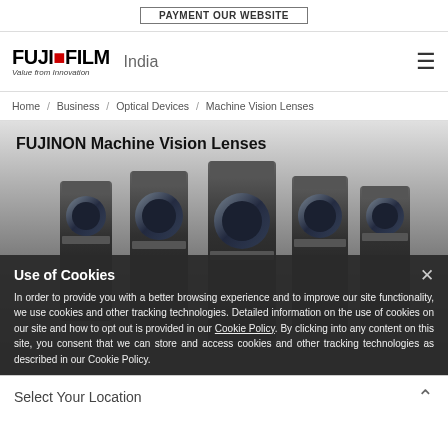PAYMENT OUR WEBSITE
[Figure (logo): FUJIFILM logo with 'Value from Innovation' tagline and 'India' text beside it]
Home / Business / Optical Devices / Machine Vision Lenses
FUJINON Machine Vision Lenses
[Figure (photo): Multiple FUJINON machine vision camera lenses arranged together on dark background]
Use of Cookies
In order to provide you with a better browsing experience and to improve our site functionality, we use cookies and other tracking technologies. Detailed information on the use of cookies on our site and how to opt out is provided in our Cookie Policy. By clicking into any content on this site, you consent that we can store and access cookies and other tracking technologies as described in our Cookie Policy.
Select Your Location